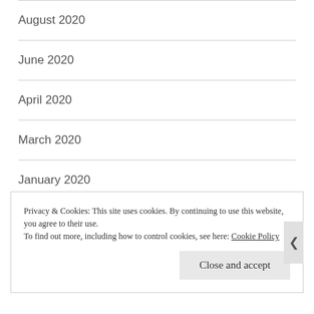August 2020
June 2020
April 2020
March 2020
January 2020
December 2019
November 2019
Privacy & Cookies: This site uses cookies. By continuing to use this website, you agree to their use. To find out more, including how to control cookies, see here: Cookie Policy
Close and accept